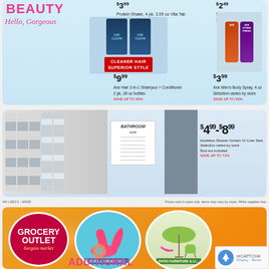[Figure (infographic): Beauty section advertisement with AXE hair and body products on light blue background. Shows 'BEAUTY Hello, Gorgeous' branding.]
$3.99 Protein Shake, 4 pk, 3.55 oz This Falls SAVE UP TO 60%
$2.49 Selection varies by store SAVE UP TO 50%
$9.99 Axe Hair 2-In-1 Shampoo + Conditioner 2 pk, 28 oz bottles SAVE UP TO 50%
$3.99 Axe Men's Body Spray, 4 oz Selection varies by store SAVE UP TO 53%
[Figure (infographic): Bathroom shower curtain advertisement showing curtains and curtain sets on blue dotted background. Price tag $4.99-$8.99.]
$4.99-$8.99 Hookless Shower Curtain Or Liner Sets Selection varies by store Rod not included. SAVE UP TO 71%
Prices sold in store only. Items may vary by store. While supplies last.
[Figure (infographic): Grocery Outlet Bargain Market advertisement on orange background with pool & water toys circle and patio furniture circle.]
GROCERY OUTLET bargain market
POOL & WATER TOYS
PATIO FURNITURE & LI...
ADDITIONAL